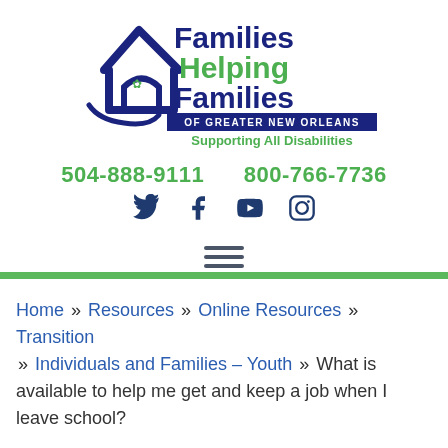[Figure (logo): Families Helping Families of Greater New Orleans - Supporting All Disabilities logo with house/heart shape in navy blue and green text]
504-888-9111     800-766-7736
[Figure (other): Social media icons: Twitter, Facebook, YouTube, Instagram]
[Figure (other): Hamburger menu icon (three horizontal lines)]
Home » Resources » Online Resources » Transition » Individuals and Families – Youth » What is available to help me get and keep a job when I leave school?